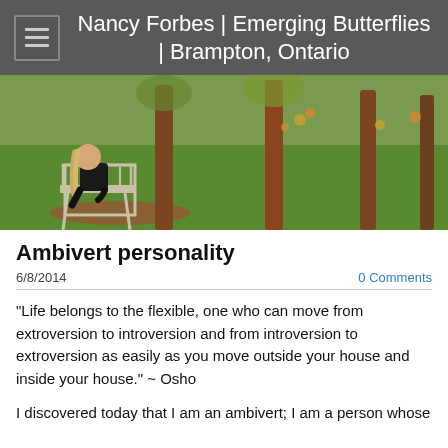Nancy Forbes | Emerging Butterflies | Brampton, Ontario
[Figure (photo): A woman in dark clothes sitting alone on a wooden chair outdoors among trees with green grass and autumn foliage in the background.]
Ambivert personality
6/8/2014
0 Comments
"Life belongs to the flexible, one who can move from extroversion to introversion and from introversion to extroversion as easily as you move outside your house and inside your house." ~ Osho
I discovered today that I am an ambivert; I am a person whose personality...